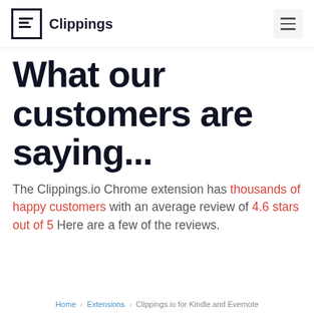Clippings
What our customers are saying...
The Clippings.io Chrome extension has thousands of happy customers with an average review of 4.6 stars out of 5 Here are a few of the reviews.
Home > Extensions > Clippings.io for Kindle and Evernote